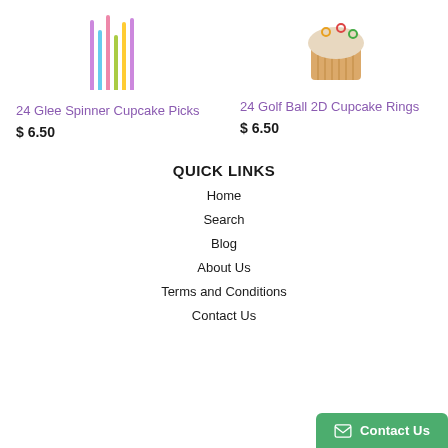[Figure (photo): Product image of 24 Glee Spinner Cupcake Picks - colorful party picks]
[Figure (photo): Product image of 24 Golf Ball 2D Cupcake Rings - cupcake with rings on top]
24 Glee Spinner Cupcake Picks
$ 6.50
24 Golf Ball 2D Cupcake Rings
$ 6.50
QUICK LINKS
Home
Search
Blog
About Us
Terms and Conditions
Contact Us